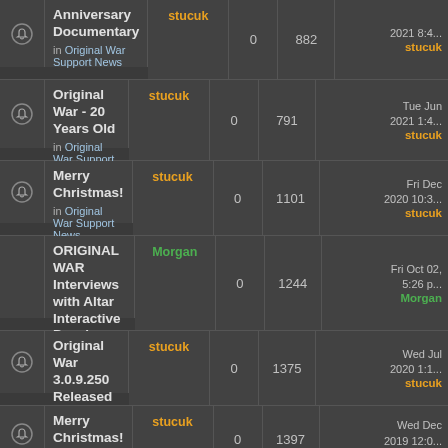|  | Topic | Author | Replies | Views | Last Post |
| --- | --- | --- | --- | --- | --- |
| [bell] | Anniversary Documentary
in Original War Support News | stucuk | 0 | 882 | 2021 8:4...
stucuk |
| [bell] | Original War - 20 Years Old
in Original War Support News | stucuk | 0 | 791 | Tue Jun 2021 1:4...
stucuk |
| [bell] | Merry Christmas!
in Original War Support News | stucuk | 0 | 1101 | Fri Dec 2020 10:3...
stucuk |
|  | ORIGINAL WAR Interviews with Altar Interactive Developers
in Original War Support News | Morgan | 0 | 1244 | Fri Oct 02, 5:26 p
Morgan |
| [bell] | Original War 3.0.9.250 Released
in Original War Support News | stucuk | 0 | 1375 | Wed Jul 2020 1:1...
stucuk |
| [bell] | Merry Christmas!
in Original War Support News | stucuk | 0 | 1397 | Wed Dec 2019 12:0...
stucuk |
|  | Message to new players coming from Humble Bundle store!
in Original War Support News | Morgan | 0 | 1996 | Thu Aug 2019 6:0...
Morgan |